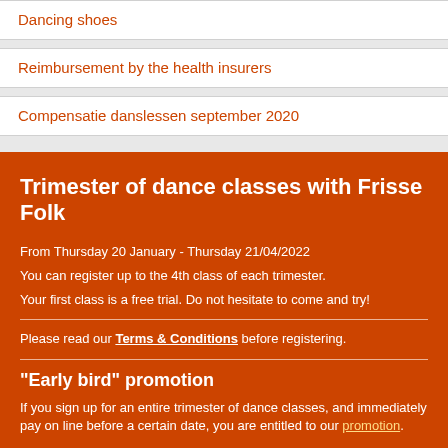Dancing shoes
Reimbursement by the health insurers
Compensatie danslessen september 2020
Trimester of dance classes with Frisse Folk
From Thursday 20 January - Thursday 21/04/2022
You can register up to the 4th class of each trimester.
Your first class is a free trial. Do not hesitate to come and try!
Please read our Terms & Conditions before registering.
"Early bird" promotion
If you sign up for an entire trimester of dance classes, and immediately pay on line before a certain date, you are entitled to our promotion.